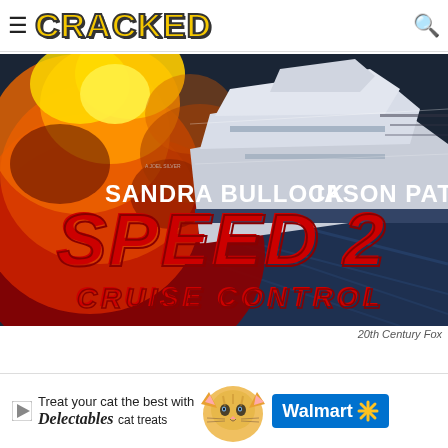CRACKED
[Figure (photo): Movie poster for Speed 2: Cruise Control featuring Sandra Bullock and Jason Patric, showing a cruise ship against a fiery explosion background with stylized red title text]
20th Century Fox
[Figure (infographic): Advertisement banner: Treat your cat the best with Delectables cat treats - Walmart]